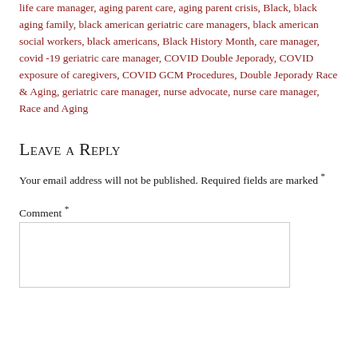life care manager, aging parent care, aging parent crisis, Black, black aging family, black american geriatric care managers, black american social workers, black americans, Black History Month, care manager, covid -19 geriatric care manager, COVID Double Jeporady, COVID exposure of caregivers, COVID GCM Procedures, Double Jeporady Race & Aging, geriatric care manager, nurse advocate, nurse care manager, Race and Aging
Leave a Reply
Your email address will not be published. Required fields are marked *
Comment *